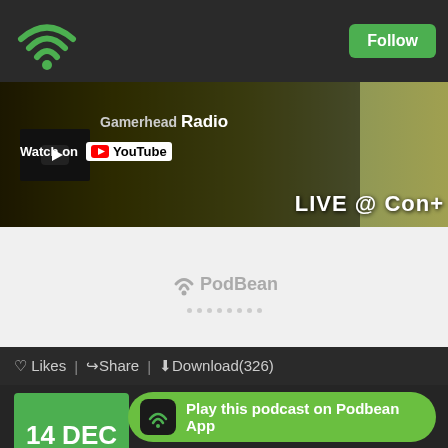[Figure (screenshot): Green wifi/podcast icon logo in top-left corner]
Follow
[Figure (screenshot): Gamerhead Radio YouTube video banner with 'Watch on YouTube' overlay and 'LIVE @ Con+' text on right]
[Figure (screenshot): PodBean audio player widget with PodBean logo and dot indicators]
♡ Likes | ↗Share | ⬇Download(326)
14  DEC

2016
Episode 197 - Just Decking Around
This week we have Ricky Keller as a 2 time B squad host, while Charlie che... he unpopular ... cks...
Play this podcast on Podbean App